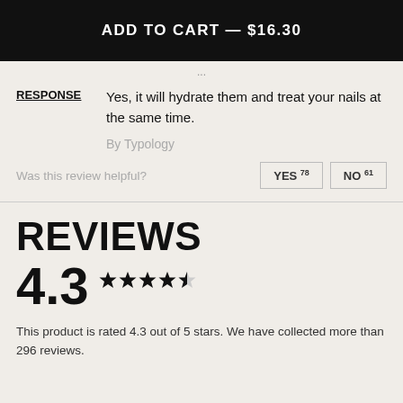ADD TO CART — $16.30
RESPONSE   Yes, it will hydrate them and treat your nails at the same time.
By Typology
Was this review helpful?
YES 78   NO 61
REVIEWS
4.3 ★★★★½
This product is rated 4.3 out of 5 stars. We have collected more than 296 reviews.